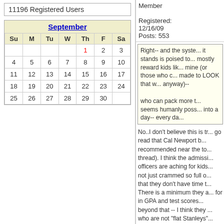11196 Registered Users
| Su | M | Tu | W | Th | F | Sa |
| --- | --- | --- | --- | --- | --- | --- |
|  |  |  |  | 1 | 2 | 3 |
| 4 | 5 | 6 | 7 | 8 | 9 | 10 |
| 11 | 12 | 13 | 14 | 15 | 16 | 17 |
| 18 | 19 | 20 | 21 | 22 | 23 | 24 |
| 25 | 26 | 27 | 28 | 29 | 30 |  |
Member
Registered: 12/16/09
Posts: 553
Right-- and the system as it stands is poised to mostly reward kids like mine (or those who can be made to LOOK that way anyway)--

who can pack more than seems humanly possible into a day-- every day...
No..I don't believe this is tr... go read that Cal Newport book recommended near the top of the thread). I think the admissions officers are aching for kids who are not just crammed so full of AP that they don't have time to... There is a minimum they are looking for in GPA and test scores and beyond that -- I think they want kids who are not "flat Stanleys" -- they want texture and evidence of intellectual interest. My kid got into Swarthmore, U of Chicago, Harvey Mudd, and Carleton -- had a 3.7 GPA (unweighted, school does not weight or they can't take AP courses...